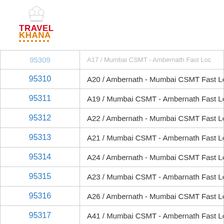[Figure (logo): Travel Khana logo with chef hat icon, TRAVEL in red bold text, KHANA in orange bold text, underlined with orange dots]
| Train No. | Train Name |
| --- | --- |
| 95310 | A20 / Ambernath - Mumbai CSMT Fast Loc |
| 95311 | A19 / Mumbai CSMT - Ambernath Fast Loc |
| 95312 | A22 / Ambernath - Mumbai CSMT Fast Loc |
| 95313 | A21 / Mumbai CSMT - Ambernath Fast Loc |
| 95314 | A24 / Ambernath - Mumbai CSMT Fast Loc |
| 95315 | A23 / Mumbai CSMT - Ambarnath Fast Loc |
| 95316 | A26 / Ambernath - Mumbai CSMT Fast Loc |
| 95317 | A41 / Mumbai CSMT - Ambernath Fast Loc |
| 95318 | A32 / Ambernath - Mumbai CSMT Fast Loc |